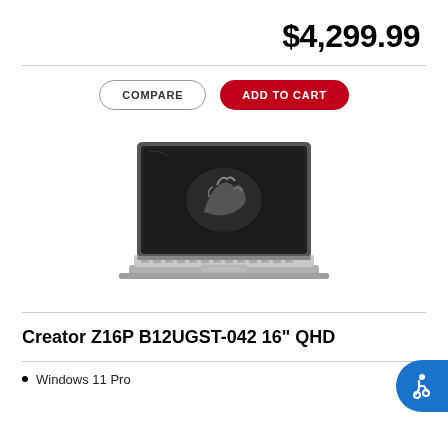$4,299.99
[Figure (screenshot): Laptop product image - MSI Creator Z16P, dark gray laptop with decorative hand graphic on screen]
Creator Z16P B12UGST-042 16" QHD
Windows 11 Pro